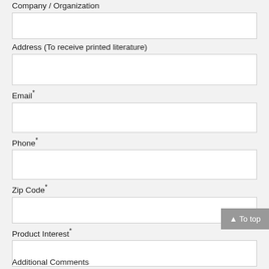Company / Organization
Address (To receive printed literature)
Email*
Phone*
Zip Code*
Product Interest*
How did you learn about us?
Additional Comments